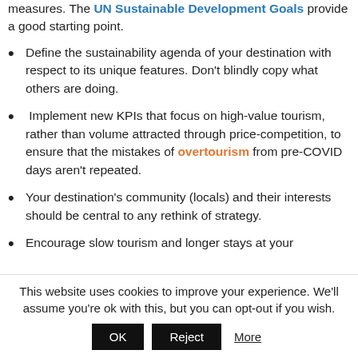measures. The UN Sustainable Development Goals provide a good starting point.
Define the sustainability agenda of your destination with respect to its unique features. Don't blindly copy what others are doing.
Implement new KPIs that focus on high-value tourism, rather than volume attracted through price-competition, to ensure that the mistakes of overtourism from pre-COVID days aren't repeated.
Your destination's community (locals) and their interests should be central to any rethink of strategy.
Encourage slow tourism and longer stays at your
This website uses cookies to improve your experience. We'll assume you're ok with this, but you can opt-out if you wish.